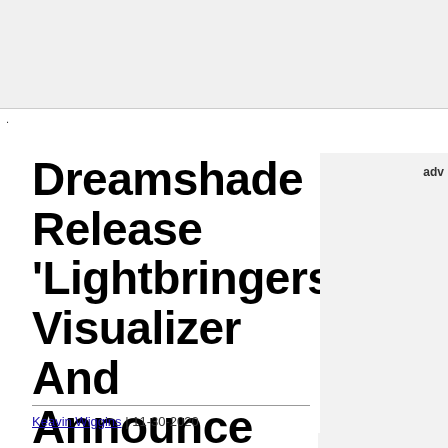.
Dreamshade Release 'Lightbringers' Visualizer And Announce Album
Keavin Wiggins | 11-30-2020